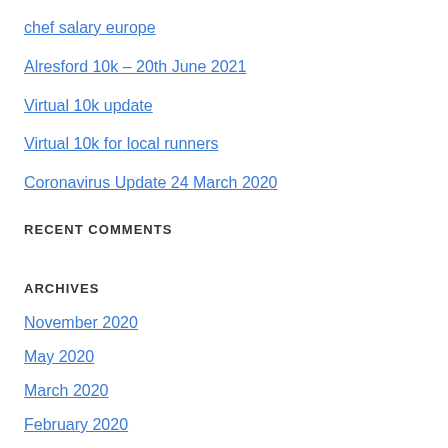chef salary europe
Alresford 10k – 20th June 2021
Virtual 10k update
Virtual 10k for local runners
Coronavirus Update 24 March 2020
RECENT COMMENTS
ARCHIVES
November 2020
May 2020
March 2020
February 2020
January 2020
June 2019
May 2019